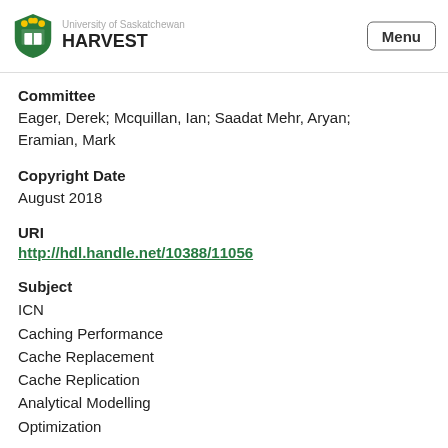HARVEST
Committee
Eager, Derek; Mcquillan, Ian; Saadat Mehr, Aryan; Eramian, Mark
Copyright Date
August 2018
URI
http://hdl.handle.net/10388/11056
Subject
ICN
Caching Performance
Cache Replacement
Cache Replication
Analytical Modelling
Optimization